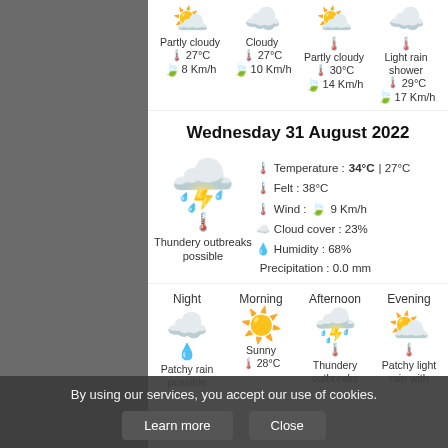[Figure (infographic): Weather forecast strip showing 4 time periods: Partly cloudy 27°C 8 Km/h, Cloudy 27°C 10 Km/h, Partly cloudy 30°C 14 Km/h, Light rain shower 29°C 17 Km/h, with weather emoji icons]
Wednesday 31 August 2022
[Figure (infographic): Main weather detail for Wednesday 31 August 2022: Thundery outbreaks possible, Temperature 34°C | 27°C, Felt 38°C, Wind 9 Km/h, Cloud cover 23%, Humidity 68%, Precipitation 0.0 mm]
[Figure (infographic): Time-of-day forecast row: Night (Patchy rain possible), Morning (Sunny 28°C), Afternoon (Thundery outbreaks), Evening (Patchy light rain with)]
By using our services, you accept our use of cookies.
Learn more  Close